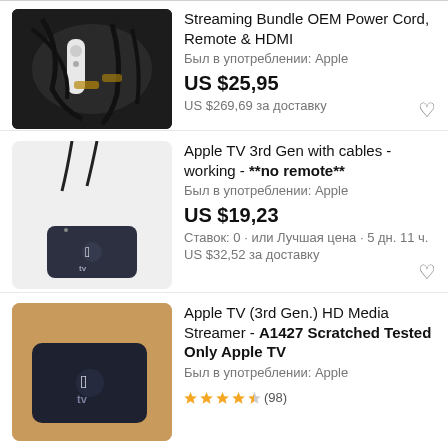[Figure (photo): Apple TV streaming bundle with power cord, remote and HDMI cables, partially visible at top]
Streaming Bundle OEM Power Cord, Remote & HDMI
Был в употреблении: Apple
US $25,95
US $269,69 за доставку
[Figure (photo): Apple TV 3rd generation device with cables on light background]
Apple TV 3rd Gen with cables - working - **no remote**
Был в употреблении: Apple
US $19,23
Ставок: 0 · или Лучшая цена · 5 дн. 11 ч.
US $32,52 за доставку
[Figure (photo): Apple TV 3rd generation device on brown background, partially visible]
Apple TV (3rd Gen.) HD Media Streamer - A1427 Scratched Tested Only Apple TV
Был в употреблении: Apple
★★★★½ (98)